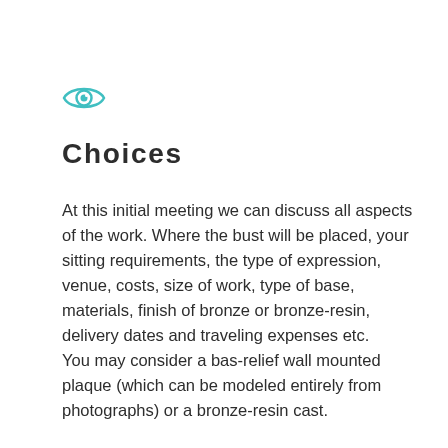[Figure (illustration): Teal/turquoise eye icon]
Choices
At this initial meeting we can discuss all aspects of the work. Where the bust will be placed, your sitting requirements, the type of expression, venue, costs, size of work, type of base, materials, finish of bronze or bronze-resin, delivery dates and traveling expenses etc.
You may consider a bas-relief wall mounted plaque (which can be modeled entirely from photographs) or a bronze-resin cast.